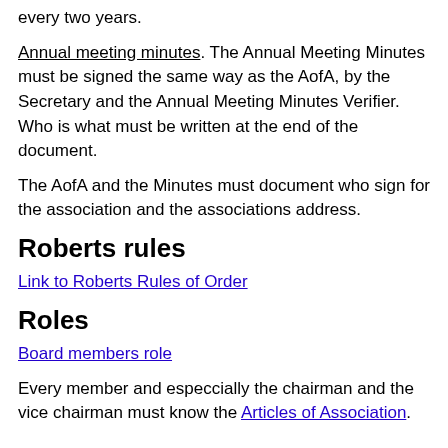every two years.
Annual meeting minutes. The Annual Meeting Minutes must be signed the same way as the AofA, by the Secretary and the Annual Meeting Minutes Verifier. Who is what must be written at the end of the document.
The AofA and the Minutes must document who sign for the association and the associations address.
Roberts rules
Link to Roberts Rules of Order
Roles
Board members role
Every member and especcially the chairman and the vice chairman must know the Articles of Association.